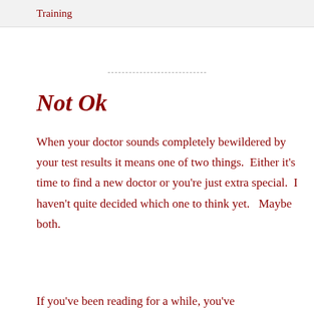Training
Not Ok
When your doctor sounds completely bewildered by your test results it means one of two things.  Either it's time to find a new doctor or you're just extra special.  I haven't quite decided which one to think yet.   Maybe both.
If you've been reading for a while, you've